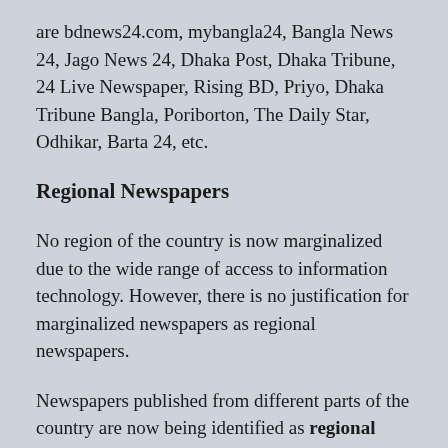are bdnews24.com, mybangla24, Bangla News 24, Jago News 24, Dhaka Post, Dhaka Tribune, 24 Live Newspaper, Rising BD, Priyo, Dhaka Tribune Bangla, Poriborton, The Daily Star, Odhikar, Barta 24, etc.
Regional Newspapers
No region of the country is now marginalized due to the wide range of access to information technology. However, there is no justification for marginalized newspapers as regional newspapers.
Newspapers published from different parts of the country are now being identified as regional newspapers.
The first regional newspaper in Bangladesh was published from Rangpur in 1848, 'Rangpur Bartabah'.